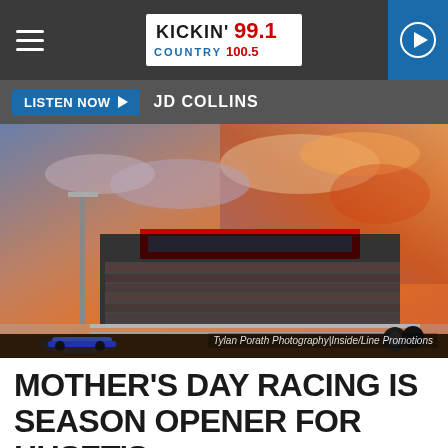Kickin' 99.1 Country 100.5
LISTEN NOW  JD COLLINS
[Figure (photo): Exterior of a packed speedway grandstand at sunset with dramatic orange and purple sky. A racing car is visible in the foreground. Credit: Tylan Porath Photography|Inside/Line Promotions]
Tylan Porath Photography|Inside/Line Promotions
MOTHER'S DAY RACING IS SEASON OPENER FOR HUSET'S